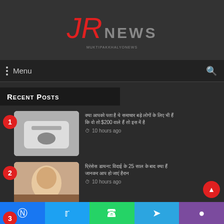[Figure (logo): JR NEWS logo with red italic JR and grey NEWS text]
Menu
Recent Posts
10 hours ago
10 hours ago
Facebook, Twitter, WhatsApp, Telegram, Viber social share buttons